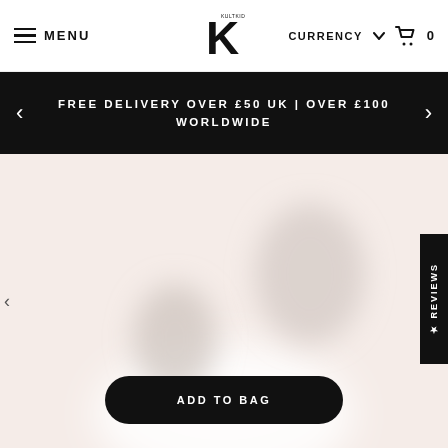MENU | KULTKID logo | CURRENCY 0
FREE DELIVERY OVER £50 UK | OVER £100 WORLDWIDE
[Figure (photo): Blurred product photo showing earrings on a light pink/blush background]
★ REVIEWS
ADD TO BAG